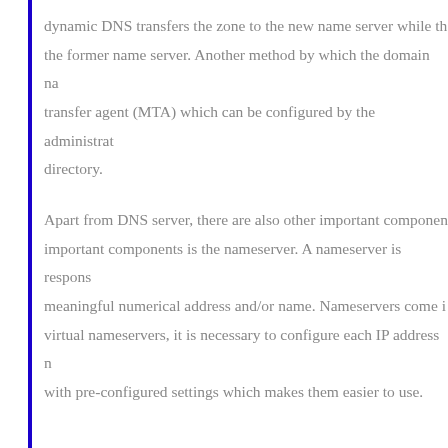dynamic DNS transfers the zone to the new name server while the former name server. Another method by which the domain na transfer agent (MTA) which can be configured by the administrat directory.
Apart from DNS server, there are also other important componen important components is the nameserver. A nameserver is respons meaningful numerical address and/or name. Nameservers come i virtual nameservers, it is necessary to configure each IP address n with pre-configured settings which makes them easier to use.